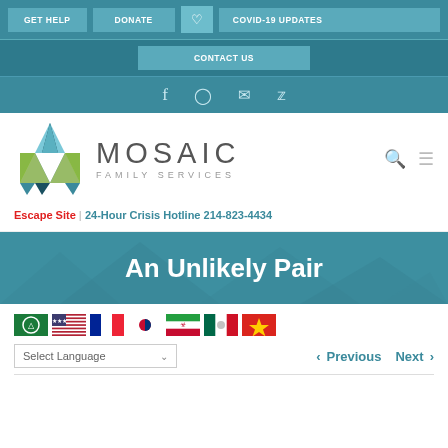GET HELP | DONATE | COVID-19 UPDATES
CONTACT US
Social icons: Facebook, Instagram, Email, Twitter
[Figure (logo): Mosaic Family Services logo with colorful geometric M shape and text MOSAIC FAMILY SERVICES]
Escape Site | 24-Hour Crisis Hotline 214-823-4434
An Unlikely Pair
[Figure (other): Row of country flags: Saudi Arabia, USA, France, South Korea, Iran, Mexico, Vietnam]
Select Language
< Previous   Next >